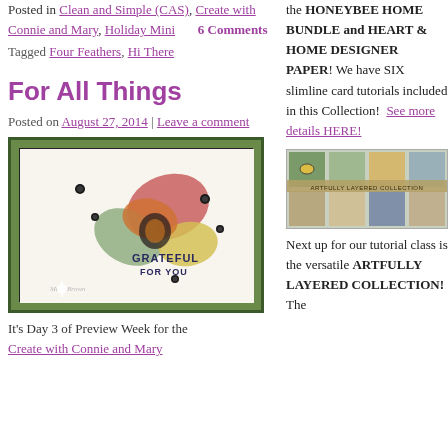Posted in Clean and Simple (CAS), Create with Connie and Mary, Holiday Mini   6 Comments
Tagged Four Feathers, Hi There
For All Things
Posted on August 27, 2014 | Leave a comment
[Figure (photo): Handmade greeting card with colorful autumn leaf die-cuts and the stamped text 'GRATEFUL FOR YOU', on a green cardstock base]
It's Day 3 of Preview Week for the
Create with Connie and Mary
the HONEYBEE HOME BUNDLE and HEART & HOME DESIGNER PAPER! We have SIX slimline card tutorials included in this Collection!  See more details HERE!
[Figure (photo): Artfully Layered Collection promotional image showing various colorful patterned paper samples]
Next up for our tutorial class is the versatile ARTFULLY LAYERED COLLECTION! The